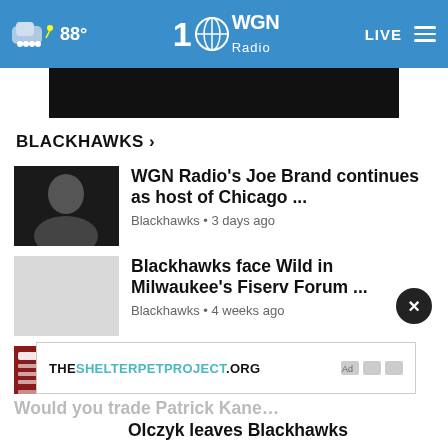88° WGN Radio LIVE
[Figure (screenshot): Dark advertisement banner]
BLACKHAWKS ›
WGN Radio's Joe Brand continues as host of Chicago ... Blackhawks • 3 days ago
Blackhawks face Wild in Milwaukee's Fiserv Forum ... Blackhawks • 4 weeks ago
Blackhawks announce 2022 pre-season schedule, including ... Blackhawks • 4 weeks ago
Olczyk leaves Blackhawks broadcast, set to join Kraken…
[Figure (screenshot): THESHELTERPETPROJECT.ORG advertisement overlay]
Would you trade Patrick Kane…